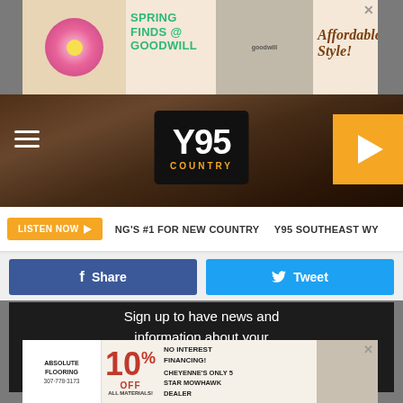[Figure (infographic): Goodwill Spring Finds advertisement banner - Spring Finds @ Goodwill, Affordable Style!]
[Figure (logo): Y95 Country radio station navigation bar with hamburger menu, Y95 Country logo, and play button]
LISTEN NOW  NG'S #1 FOR NEW COUNTRY  Y95 SOUTHEAST WY
[Figure (infographic): Facebook Share and Twitter Tweet buttons]
Sign up to have news and information about your community delivered to your email.
[Figure (infographic): Absolute Flooring advertisement - 10% off all materials, No Interest Financing, Cheyenne's only 5 star Mowhawk Dealer, 307-778-3173]